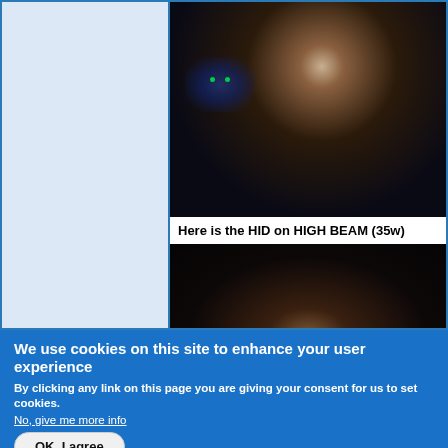[Figure (photo): Dark motorcycle cockpit/handlebar area viewed from rider perspective, with blue instrument cluster glow and green indicator lights visible]
Here is the HID on HIGH BEAM (35w)
[Figure (photo): Dark road/night scene photo showing motorcycle high beam HID light output]
We use cookies on this site to enhance your user experience
By clicking any link on this page you are giving your consent for us to set cookies.
No, give me more info
OK, I agree